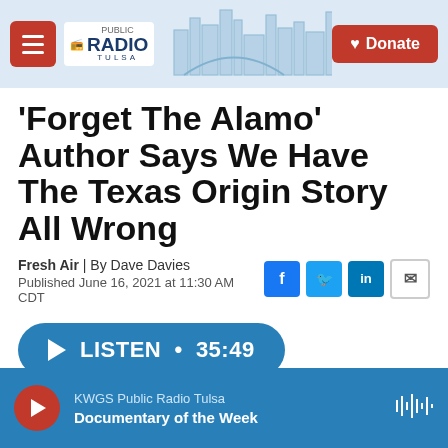[Figure (screenshot): Public Radio Tulsa website header with hamburger menu, logo, skyline illustration, and red Donate button]
'Forget The Alamo' Author Says We Have The Texas Origin Story All Wrong
Fresh Air | By Dave Davies
Published June 16, 2021 at 11:30 AM CDT
LISTEN • 35:49
KWGS Public Radio Tulsa
Documentary of the Week